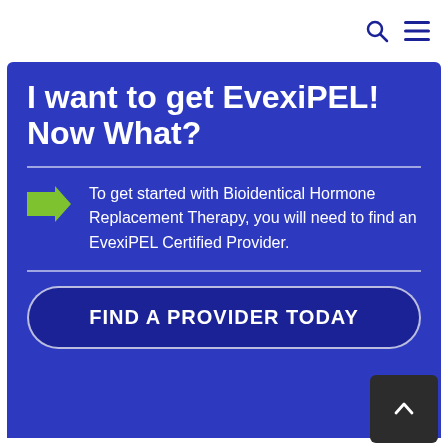I want to get EvexiPEL! Now What?
To get started with Bioidentical Hormone Replacement Therapy, you will need to find an EvexiPEL Certified Provider.
FIND A PROVIDER TODAY